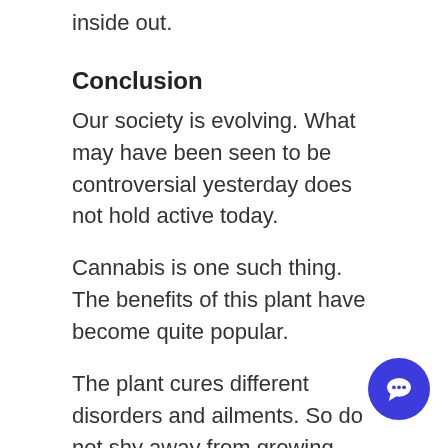inside out.
Conclusion
Our society is evolving. What may have been seen to be controversial yesterday does not hold active today.
Cannabis is one such thing. The benefits of this plant have become quite popular.
The plant cures different disorders and ailments. So do not shy away from growing your green!